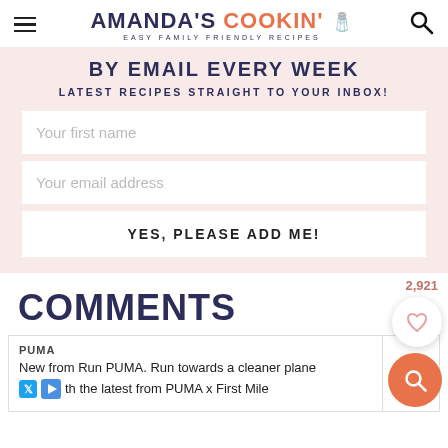AMANDA'S COOKIN' EASY FAMILY FRIENDLY RECIPES
BY EMAIL EVERY WEEK
LATEST RECIPES STRAIGHT TO YOUR INBOX!
Your first name
Your email address
YES, PLEASE ADD ME!
2,921
COMMENTS
PUMA
New from Run PUMA. Run towards a cleaner planet with the latest from PUMA x First Mile